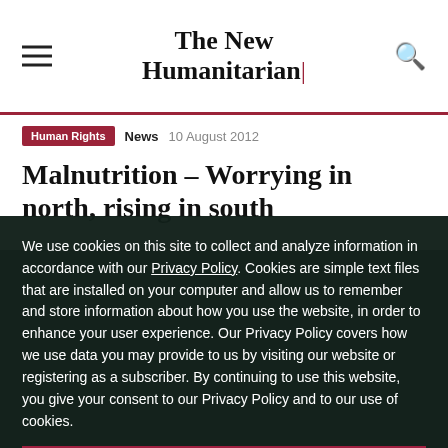The New Humanitarian
Human Rights  News  10 August 2012
Malnutrition – Worrying in north, rising in south
We use cookies on this site to collect and analyze information in accordance with our Privacy Policy. Cookies are simple text files that are installed on your computer and allow us to remember and store information about how you use the website, in order to enhance your user experience. Our Privacy Policy covers how we use data you may provide to us by visiting our website or registering as a subscriber. By continuing to use this website, you give your consent to our Privacy Policy and to our use of cookies.
OK, I agree